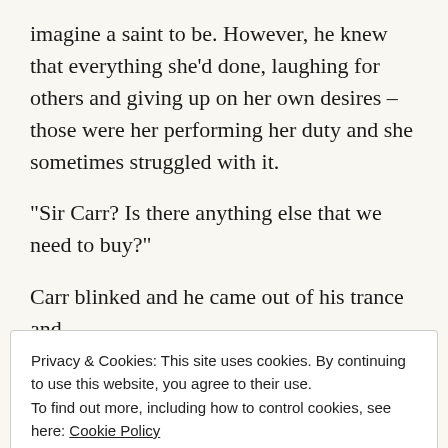imagine a saint to be. However, he knew that everything she'd done, laughing for others and giving up on her own desires – those were her performing her duty and she sometimes struggled with it.
“Sir Carr? Is there anything else that we need to buy?”
Carr blinked and he came out of his trance and
Privacy & Cookies: This site uses cookies. By continuing to use this website, you agree to their use.
To find out more, including how to control cookies, see here: Cookie Policy
Close and accept